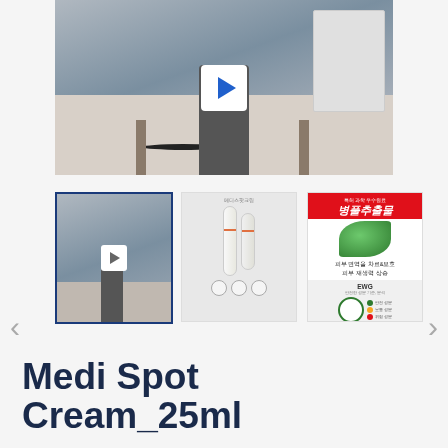[Figure (photo): Main product video thumbnail showing a person in a living room with a round table and wire basket, with a white play button overlay]
[Figure (screenshot): First thumbnail: video preview with play button, selected with blue border]
[Figure (photo): Second thumbnail: Korean skincare product (메디스팟크림) with slim tube product and badges]
[Figure (photo): Third thumbnail: Korean ad with red banner (병풀추출물), green leaf image, Korean text about skin barrier, and EWG rating circles]
Medi Spot Cream_25ml